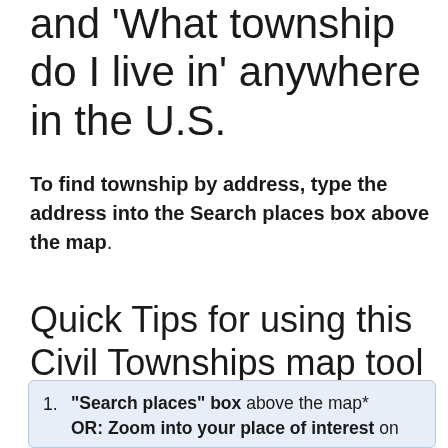and 'What township do I live in' anywhere in the U.S.
To find township by address, type the address into the Search places box above the map.
Quick Tips for using this Civil Townships map tool
Type any place or address in the "Search places" box above the map* OR: Zoom into your place of interest on the map Township boundary lines will draw on the map, and the township name, state name, country name and latitude/longitude for